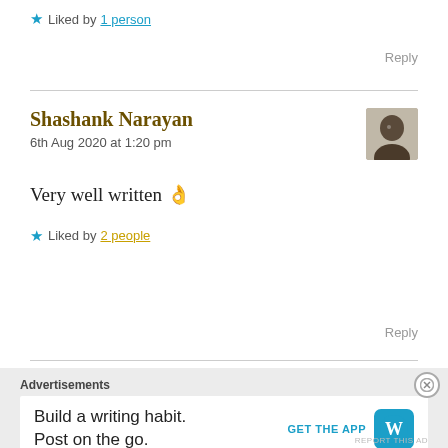★ Liked by 1 person
Reply
Shashank Narayan
6th Aug 2020 at 1:20 pm
Very well written 👌
★ Liked by 2 people
Reply
Advertisements
Build a writing habit.
Post on the go.
GET THE APP